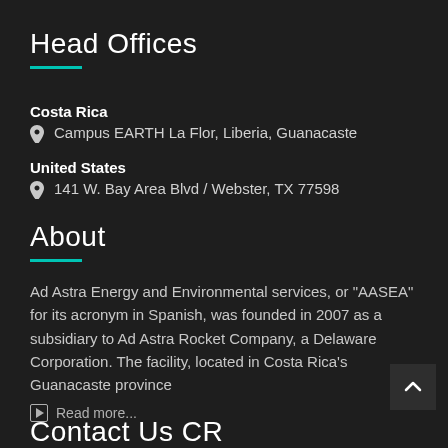Head Offices
Costa Rica
Campus EARTH La Flor, Liberia, Guanacaste
United States
141 W. Bay Area Blvd / Webster, TX 77598
About
Ad Astra Energy and Environmental services, or “AASEA” for its acronym in Spanish, was founded in 2007 as a subsidiary to Ad Astra Rocket Company, a Delaware Corporation. The facility, located in Costa Rica’s Guanacaste province
Read more...
Contact Us CR